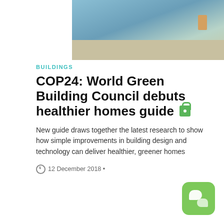[Figure (photo): Aerial or street-level photo of a building or urban area with people and trees visible]
BUILDINGS
COP24: World Green Building Council debuts healthier homes guide 🔒
New guide draws together the latest research to show how simple improvements in building design and technology can deliver healthier, greener homes
12 December 2018 •
[Figure (photo): Portrait photo of a smiling woman with blonde hair]
[Figure (other): Green chat widget button with speech bubble icons]